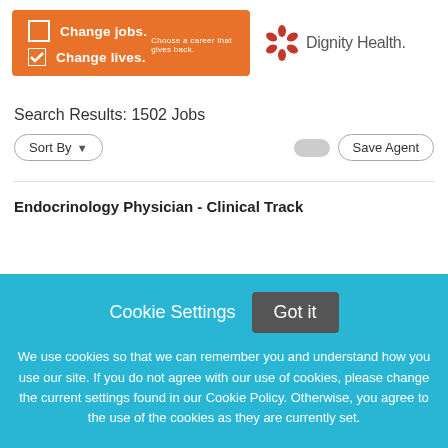[Figure (logo): Dignity Health banner ad: orange rectangle with 'Change jobs. Change lives. Choose a career that gives back.' text and two checkboxes (empty and checked), next to Dignity Health logo with orange snowflake icon]
Search Results: 1502 Jobs
Sort By
Save Agent
Endocrinology Physician - Clinical Track
Cookie Settings
Got it
We use cookies so that we can remember you and understand how you use our site. If you do not agree with our use of cookies, please change the current settings found in our Cookie Policy. Otherwise, you agree to the use of the cookies as they are currently set.